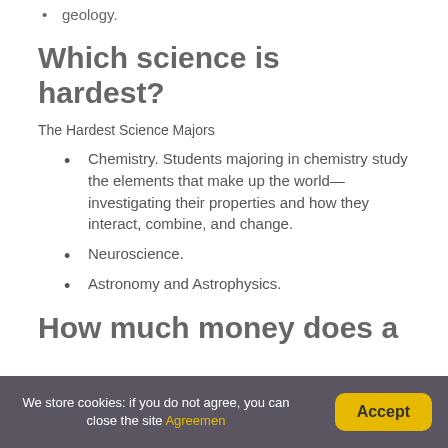geology.
Which science is hardest?
The Hardest Science Majors
Chemistry. Students majoring in chemistry study the elements that make up the world—investigating their properties and how they interact, combine, and change.
Neuroscience.
Astronomy and Astrophysics.
How much money does a
We store cookies: if you do not agree, you can close the site Agreemen